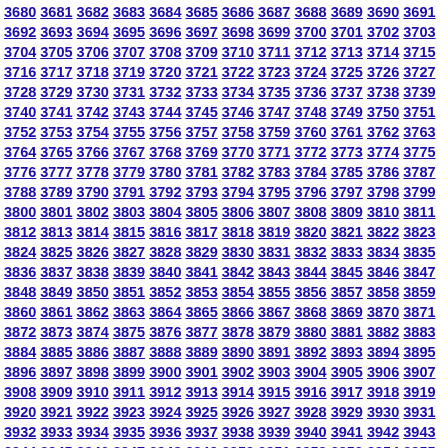3680 3681 3682 3683 3684 3685 3686 3687 3688 3689 3690 3691 3692 3693 3694 3695 3696 3697 3698 3699 3700 3701 3702 3703 3704 3705 3706 3707 3708 3709 3710 3711 3712 3713 3714 3715 3716 3717 3718 3719 3720 3721 3722 3723 3724 3725 3726 3727 3728 3729 3730 3731 3732 3733 3734 3735 3736 3737 3738 3739 3740 3741 3742 3743 3744 3745 3746 3747 3748 3749 3750 3751 3752 3753 3754 3755 3756 3757 3758 3759 3760 3761 3762 3763 3764 3765 3766 3767 3768 3769 3770 3771 3772 3773 3774 3775 3776 3777 3778 3779 3780 3781 3782 3783 3784 3785 3786 3787 3788 3789 3790 3791 3792 3793 3794 3795 3796 3797 3798 3799 3800 3801 3802 3803 3804 3805 3806 3807 3808 3809 3810 3811 3812 3813 3814 3815 3816 3817 3818 3819 3820 3821 3822 3823 3824 3825 3826 3827 3828 3829 3830 3831 3832 3833 3834 3835 3836 3837 3838 3839 3840 3841 3842 3843 3844 3845 3846 3847 3848 3849 3850 3851 3852 3853 3854 3855 3856 3857 3858 3859 3860 3861 3862 3863 3864 3865 3866 3867 3868 3869 3870 3871 3872 3873 3874 3875 3876 3877 3878 3879 3880 3881 3882 3883 3884 3885 3886 3887 3888 3889 3890 3891 3892 3893 3894 3895 3896 3897 3898 3899 3900 3901 3902 3903 3904 3905 3906 3907 3908 3909 3910 3911 3912 3913 3914 3915 3916 3917 3918 3919 3920 3921 3922 3923 3924 3925 3926 3927 3928 3929 3930 3931 3932 3933 3934 3935 3936 3937 3938 3939 3940 3941 3942 3943 3944 3945 3946 3947 3948 3949 3950 3951 3952 3953 3954 3955 3956 3957 3958 3959 3960 3961 3962 3963 3964 3965 3966 3967 3968 3969 3970 3971 3972 3973 3974 3975 3976 3977 3978 3979 3980 3981 3982 3983 3984 3985 3986 3987 3988 3989 3990 3991